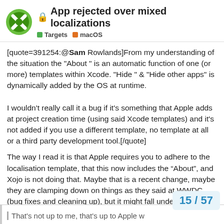🔒 App rejected over mixed localizations | Targets | macOS
[quote=391254:@Sam Rowlands]From my understanding of the situation the "About " is an automatic function of one (or more) templates within Xcode. "Hide " & "Hide other apps" is dynamically added by the OS at runtime.

I wouldn't really call it a bug if it's something that Apple adds at project creation time (using said Xcode templates) and it's not added if you use a different template, no template at all or a third party development tool.[/quote]
The way I read it is that Apple requires you to adhere to the localisation template, that this now includes the “About”, and Xojo is not doing that. Maybe that is a recent change, maybe they are clamping down on things as they said at WWDC (bug fixes and cleaning up), but it might fall under “we are looking closer at the details again instead of letting things slide” category.
That's not up to me, that's up to Apple w
15 / 57